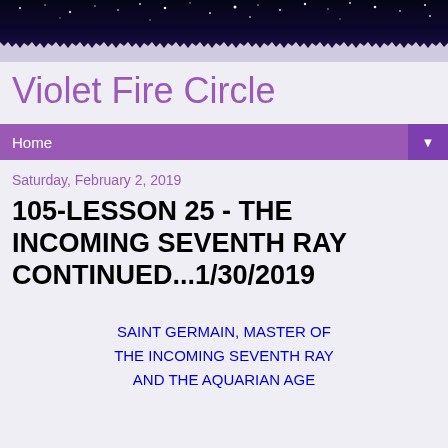[Figure (photo): Night sky banner with stars on dark blue/purple background with jagged bottom edge fading to light]
Violet Fire Circle
Home
Saturday, February 2, 2019
105-LESSON 25 - THE INCOMING SEVENTH RAY CONTINUED...1/30/2019
SAINT GERMAIN, MASTER OF THE INCOMING SEVENTH RAY AND THE AQUARIAN AGE